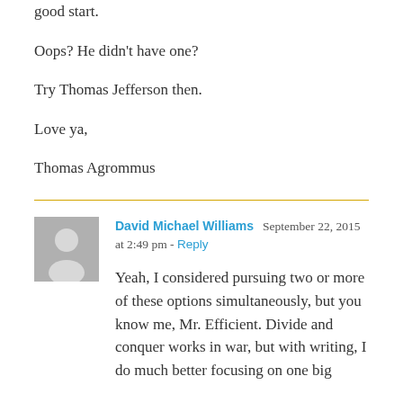good start.
Oops? He didn't have one?
Try Thomas Jefferson then.
Love ya,
Thomas Agrommus
David Michael Williams  September 22, 2015 at 2:49 pm - Reply
Yeah, I considered pursuing two or more of these options simultaneously, but you know me, Mr. Efficient. Divide and conquer works in war, but with writing, I do much better focusing on one big